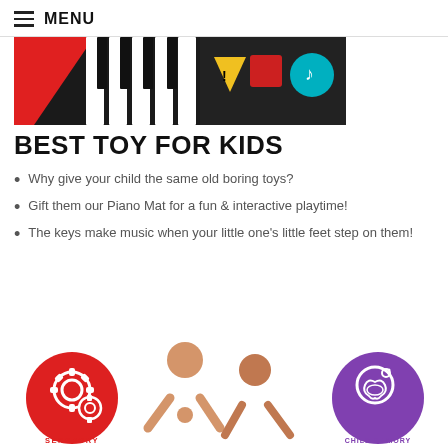MENU
[Figure (photo): Piano mat toy with colorful keys and icons on a black background]
BEST TOY FOR KIDS
Why give your child the same old boring toys?
Gift them our Piano Mat for a fun & interactive playtime!
The keys make music when your little one's little feet step on them!
[Figure (photo): Two children playing with a piano mat, flanked by a red SENSORY badge and a purple CHILD MEMORY badge]